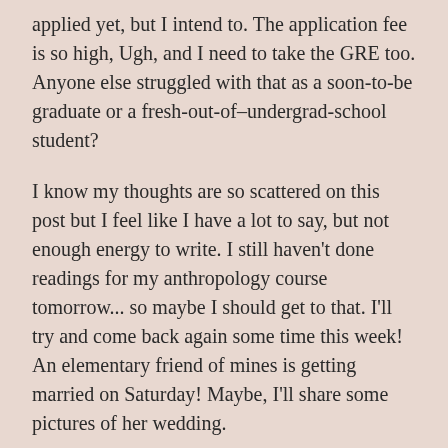applied yet, but I intend to. The application fee is so high, Ugh, and I need to take the GRE too. Anyone else struggled with that as a soon-to-be graduate or a fresh-out-of–undergrad-school student?
I know my thoughts are so scattered on this post but I feel like I have a lot to say, but not enough energy to write. I still haven't done readings for my anthropology course tomorrow... so maybe I should get to that. I'll try and come back again some time this week! An elementary friend of mines is getting married on Saturday! Maybe, I'll share some pictures of her wedding.
It's been a pretty fantastic start to the new year (other than my sister's car window being broken and my purse being stolen on the 1st) so far. I hope yours is going pretty great too!
xoxo